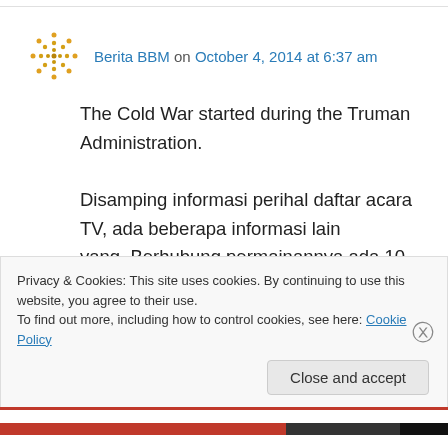Berita BBM on October 4, 2014 at 6:37 am
The Cold War started during the Truman Administration.
Disamping informasi perihal daftar acara TV, ada beberapa informasi lain yang. Berhubung permainannya ada 10 dan mempunyai peraturan-peraturan permainan masing-masing,
Privacy & Cookies: This site uses cookies. By continuing to use this website, you agree to their use.
To find out more, including how to control cookies, see here: Cookie Policy